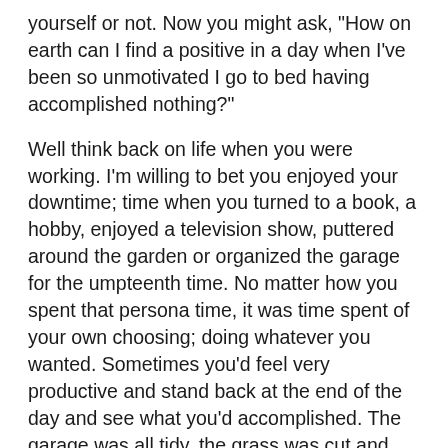yourself or not. Now you might ask, "How on earth can I find a positive in a day when I've been so unmotivated I go to bed having accomplished nothing?"
Well think back on life when you were working. I'm willing to bet you enjoyed your downtime; time when you turned to a book, a hobby, enjoyed a television show, puttered around the garden or organized the garage for the umpteenth time. No matter how you spent that persona time, it was time spent of your own choosing; doing whatever you wanted. Sometimes you'd feel very productive and stand back at the end of the day and see what you'd accomplished. The garage was all tidy, the grass was cut and the garden beds weeded, 7 chapters of a book you've been meaning to read covered..
There were times too when you lazed around the house and read the paper, had a prolonged Sunday